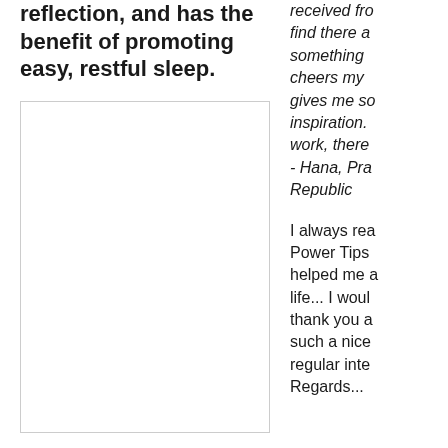reflection, and has the benefit of promoting easy, restful sleep.
[Figure (photo): Empty white image box with light gray border]
received from... find there a... something ... cheers my ... gives me so... inspiration. ... work, there... - Hana, Prag... Republic
I always rea... Power Tips ... helped me a... life... I woul... thank you a... such a nice ... regular inte... Regards...